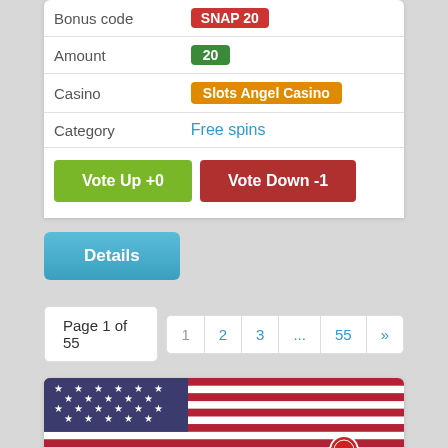| Bonus Code | Amount | Casino | Category |
| --- | --- | --- | --- |
| Bonus Code | SNAP20 |
| Amount | 20 |
| Casino | Slots Angel Casino |
| Category | Free spins |
Vote Up +0   Vote Down -1
Details
Page 1 of 55   1  2  3  ...  55  »
[Figure (photo): American flag with red, white and blue stripes and stars, with casino chip visible]